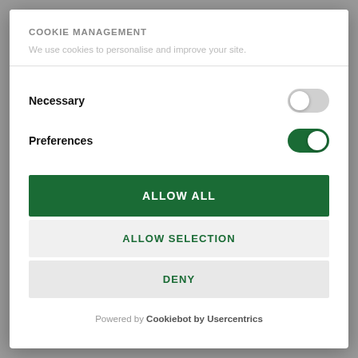COOKIE MANAGEMENT
We use cookies to personalise and improve your site.
Necessary
Preferences
ALLOW ALL
ALLOW SELECTION
DENY
Powered by Cookiebot by Usercentrics